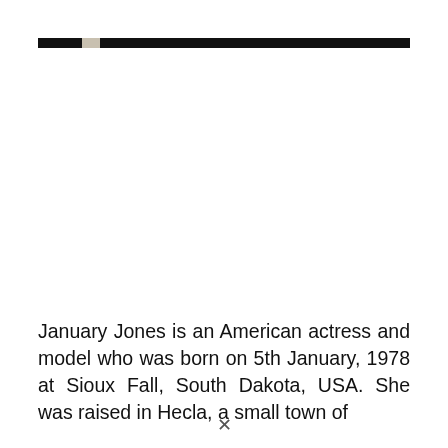[Figure (photo): Header bar with dark banner and light notch, serving as a decorative or navigation element at the top of the page. A large white/blank photo area below it.]
January Jones is an American actress and model who was born on 5th January, 1978 at Sioux Fall, South Dakota, USA. She was raised in Hecla, a small town of